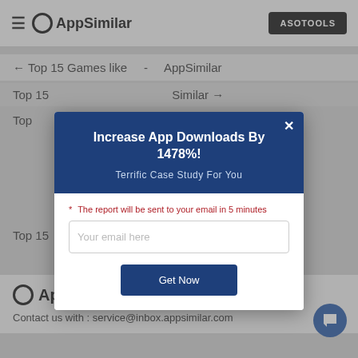≡ AppSimilar   ASOTOOLS
← Top 15 Games like - AppSimilar
Top 15 ... Similar →
Top ... ilar
Top 15 ... Similar
[Figure (screenshot): Modal popup dialog with dark blue header reading 'Increase App Downloads By 1478%!' and subtitle 'Terrific Case Study For You'. Below is a white body with note 'The report will be sent to your email in 5 minutes', an email input field, and a 'Get Now' button. An X close button is in the top right corner.]
AppSimilar
Contact us with : service@inbox.appsimilar.com